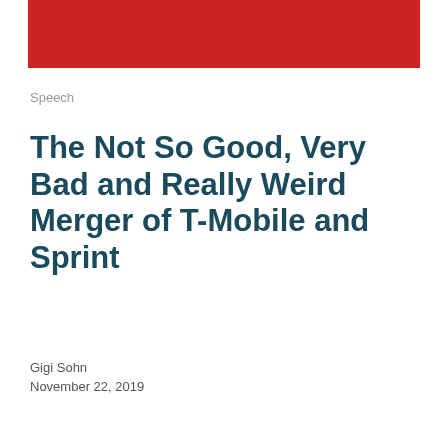[Figure (other): Red banner/header bar at top of page]
Speech
The Not So Good, Very Bad and Really Weird Merger of T-Mobile and Sprint
Gigi Sohn
November 22, 2019